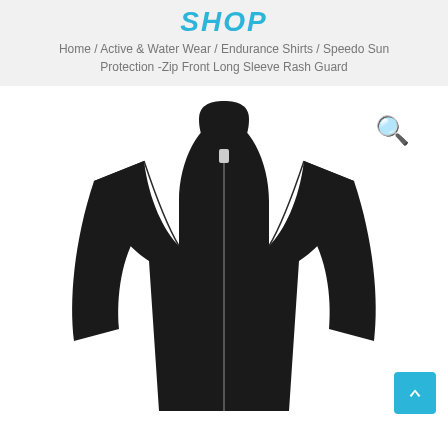SHOP
Home / Active & Water Wear / Endurance Shirts / Speedo Sun Protection -Zip Front Long Sleeve Rash Guard
[Figure (photo): Black long sleeve zip-front rash guard / sun protection shirt displayed against white background, showing the upper body and arms of the garment with a mock neck collar and front zipper.]